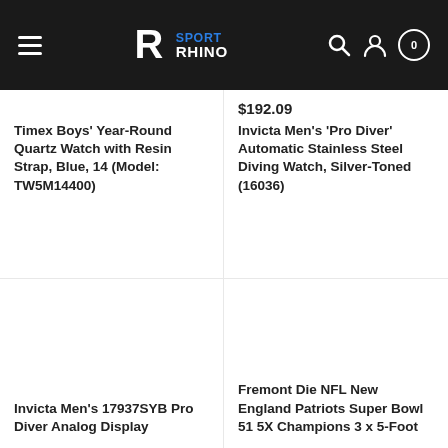Sport Rhino — navigation header with hamburger menu, logo, search, account, and cart (0 items)
Timex Boys' Year-Round Quartz Watch with Resin Strap, Blue, 14 (Model: TW5M14400)
$192.09
Invicta Men's 'Pro Diver' Automatic Stainless Steel Diving Watch, Silver-Toned (16036)
Invicta Men's 17937SYB Pro Diver Analog Display
Fremont Die NFL New England Patriots Super Bowl 51 5X Champions 3 x 5-Foot